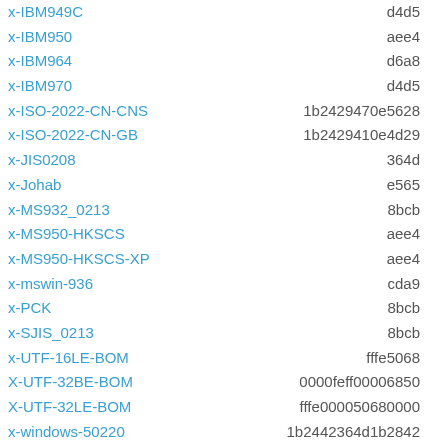| Charset | Value |
| --- | --- |
| x-IBM949C | d4d5 |
| x-IBM950 | aee4 |
| x-IBM964 | d6a8 |
| x-IBM970 | d4d5 |
| x-ISO-2022-CN-CNS | 1b2429470e5628 |
| x-ISO-2022-CN-GB | 1b2429410e4d29 |
| x-JIS0208 | 364d |
| x-Johab | e565 |
| x-MS932_0213 | 8bcb |
| x-MS950-HKSCS | aee4 |
| x-MS950-HKSCS-XP | aee4 |
| x-mswin-936 | cda9 |
| x-PCK | 8bcb |
| x-SJIS_0213 | 8bcb |
| x-UTF-16LE-BOM | fffe5068 |
| X-UTF-32BE-BOM | 0000feff00006850 |
| X-UTF-32LE-BOM | fffe000050680000 |
| x-windows-50220 | 1b2442364d1b2842 |
| x-windows-50221 | 1b2442364d1b2842 |
| x-windows-949 | d4d5 |
| x-windows-950 | aee4 |